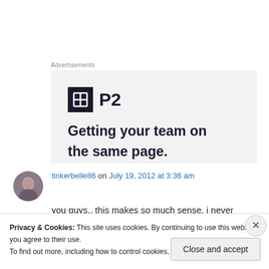Advertisements
[Figure (screenshot): Advertisement for P2 product showing logo with dark square icon and 'P2' text, with bold headline 'Getting your team on...' (text cut off at bottom)]
tinkerbelle86 on July 19, 2012 at 3:36 am
you guys.. this makes so much sense. i never
Privacy & Cookies: This site uses cookies. By continuing to use this website, you agree to their use.
To find out more, including how to control cookies, see here: Cookie Policy
Close and accept